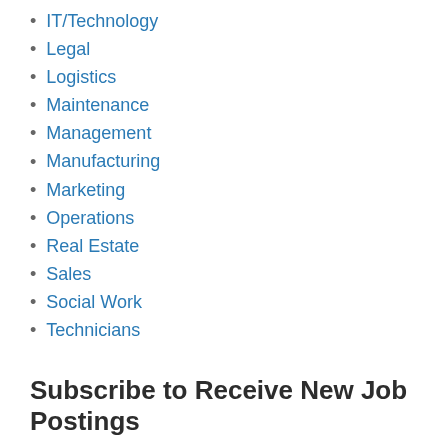IT/Technology
Legal
Logistics
Maintenance
Management
Manufacturing
Marketing
Operations
Real Estate
Sales
Social Work
Technicians
Subscribe to Receive New Job Postings
First name
Email *